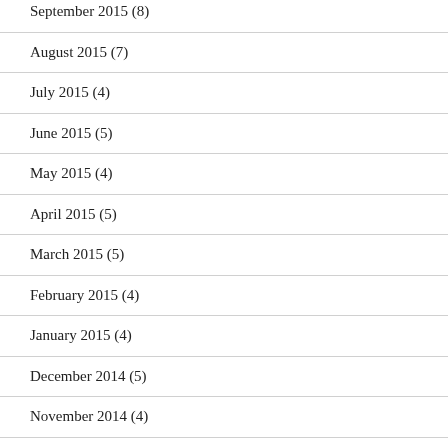September 2015 (8)
August 2015 (7)
July 2015 (4)
June 2015 (5)
May 2015 (4)
April 2015 (5)
March 2015 (5)
February 2015 (4)
January 2015 (4)
December 2014 (5)
November 2014 (4)
October 2014 (4)